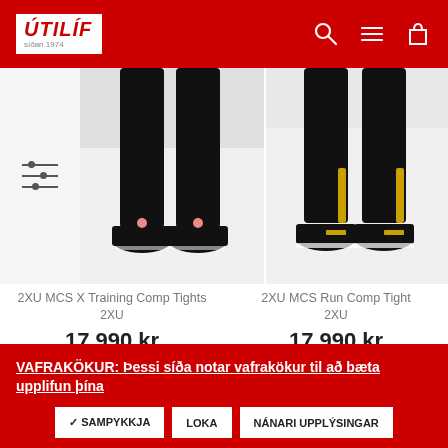[Figure (logo): Útilíf logo with text 'síðan 1974' on red background]
[Figure (photo): Two product photos side by side: left shows lower legs in black compression tights with black sneakers (2XU MCS X Training Comp Tights), right shows lower legs in black compression tights with black and gold sneakers (2XU MCS Run Comp Tight)]
2XU MCS X Training Comp Tights
2XU
17.990 kr
2XU MCS Run Comp Tight
2XU
17.990 kr
VAFRAKÖKUR: Þessi síða notar vafrakökur til að bæta upplifun þína
✓ SAMPYKKJA  LOKA  NÁNARI UPPLÝSINGAR